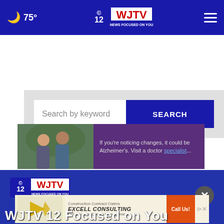🌙 75° | WJTV 12 News Focused On You | ☰
Search by keyword
SEARCH
[Figure (photo): Ad banner showing two men with text about Alzheimer's and a doctor specialist link, on a purple background]
[Figure (logo): WJTV 12 News Focused On You logo in footer]
[Figure (infographic): Excell Consulting advertisement - Construction Contract Claims, Construction Claims Management with Call Us button]
WJTV 12 Focused on You